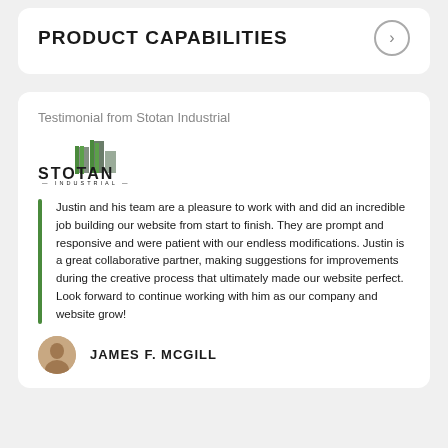PRODUCT CAPABILITIES
Testimonial from Stotan Industrial
[Figure (logo): Stotan Industrial logo with green and grey building icon and text 'STOTAN INDUSTRIAL']
Justin and his team are a pleasure to work with and did an incredible job building our website from start to finish. They are prompt and responsive and were patient with our endless modifications. Justin is a great collaborative partner, making suggestions for improvements during the creative process that ultimately made our website perfect. Look forward to continue working with him as our company and website grow!
JAMES F. MCGILL